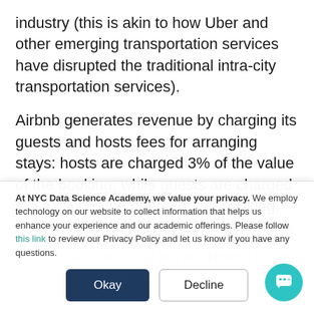industry (this is akin to how Uber and other emerging transportation services have disrupted the traditional intra-city transportation services).
Airbnb generates revenue by charging its guests and hosts fees for arranging stays: hosts are charged 3% of the value of the booking, while guests are charged 6%-12% per the nature of the booking. As a rental ecosystem, Airbnb generates tons of data including but not limited to: density of
At NYC Data Science Academy, we value your privacy. We employ technology on our website to collect information that helps us enhance your experience and our academic offerings. Please follow this link to review our Privacy Policy and let us know if you have any questions.